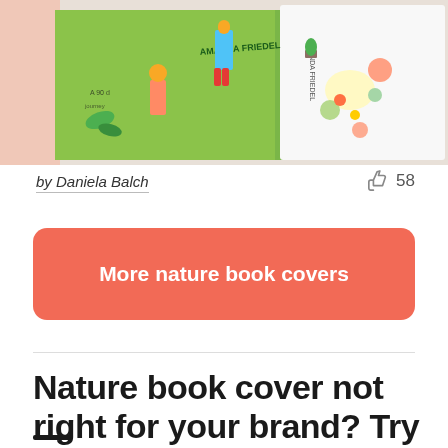[Figure (photo): Photo of a children's book by Amanda Friedel showing illustrated book covers with cartoonish characters, plants, and educational content spread out.]
by Daniela Balch
58
More nature book covers
Nature book cover not right for your brand? Try one of these: